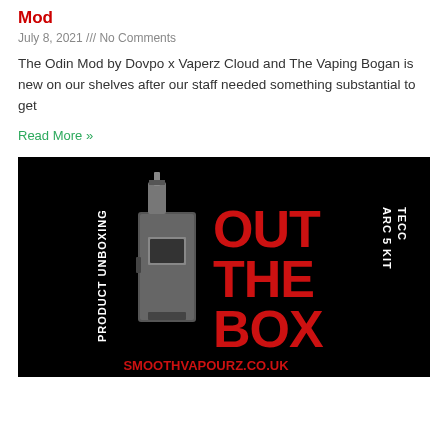Mod
July 8, 2021 /// No Comments
The Odin Mod by Dovpo x Vaperz Cloud and The Vaping Bogan is new on our shelves after our staff needed something substantial to get
Read More »
[Figure (photo): Product unboxing promotional image on black background showing a vaping device with red bold text reading 'OUT THE BOX', 'TECC ARC 5 KIT', 'PRODUCT UNBOXING', and 'SMOOTHVAPOURZ.CO.UK']